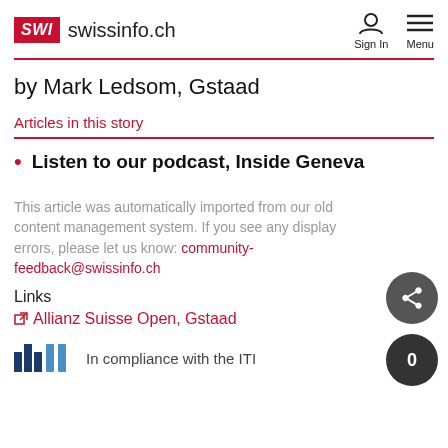SWI swissinfo.ch  Sign In  Menu
by Mark Ledsom, Gstaad
Articles in this story
Listen to our podcast, Inside Geneva
This article was automatically imported from our old content management system. If you see any display errors, please let us know: community-feedback@swissinfo.ch
Links
Allianz Suisse Open, Gstaad
In compliance with the ITI